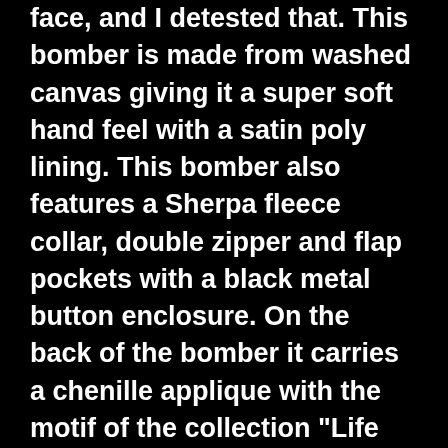face, and I detested that. This bomber is made from washed canvas giving it a super soft hand feel with a satin poly lining. This bomber also features a Sherpa fleece collar, double zipper and flap pockets with a black metal button enclosure. On the back of the bomber it carries a chenille applique with the motif of the collection "Life and Hell Mean The Same Thing." This is one of the few times we have experimented with using chenille on a garment, and the logic for it was that I really wanted to experiment with texture on the motifs of the clothing. I feel that the chenille gives the otherwise ordinary jacket a volume that a print or embroidery couldn't. My favorite embellishment on this jacket is the heart shaped O-ring I like to use the concept of love in a lot of the work I do and I wanted to gently allude to it in this jacket. If you're going through dark times, if you truly think your life is hell you gotta stop and think about what keeps you going it could be hope, it could